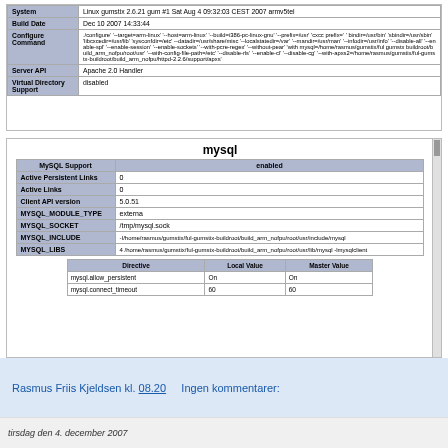[Figure (screenshot): PHP info table showing System, Build Date, Configure Command, Server API, Virtual Directory Support rows with bluish-gray label cells and white value cells.]
[Figure (screenshot): PHP info table for mysql section showing title 'mysql', MySQL Support enabled, Active Persistent Links 0, Active Links 0, Client API version 5.0.51, MYSQL_MODULE_TYPE externa, MYSQL_SOCKET /tmp/mysql.sock, MYSQL_INCLUDE path, MYSQL_LIBS path, and a directive table with mysql.allow_persistent and mysql.connect_timeout rows.]
Rasmus Friis Kjeldsen kl. 08.20     Ingen kommentarer:
tirsdag den 4. december 2007